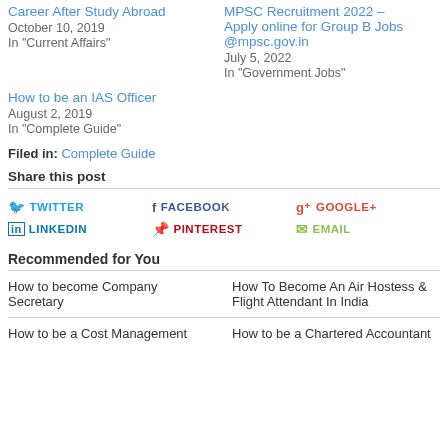Career After Study Abroad
October 10, 2019
In "Current Affairs"
MPSC Recruitment 2022 – Apply online for Group B Jobs @mpsc.gov.in
July 5, 2022
In "Government Jobs"
How to be an IAS Officer
August 2, 2019
In "Complete Guide"
Filed in: Complete Guide
Share this post
TWITTER | FACEBOOK | GOOGLE+ | LINKEDIN | PINTEREST | EMAIL
Recommended for You
How to become Company Secretary
How To Become An Air Hostess & Flight Attendant In India
How to be a Cost Management
How to be a Chartered Accountant